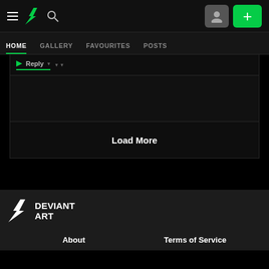DeviantArt navigation bar with hamburger menu, DA logo, search icon, avatar button, and + button
HOME | GALLERY | FAVOURITES | POSTS
Reply ▼ ▼
Load More
[Figure (logo): DeviantArt logo with bolt icon and DEVIANT ART text in white]
About | Terms of Service